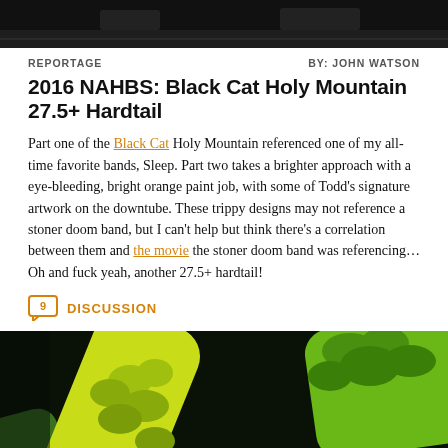[Figure (photo): Top portion of a dark photograph, appears to be a bicycle or bike component against a dark background]
REPORTAGE    BY: JOHN WATSON
2016 NAHBS: Black Cat Holy Mountain 27.5+ Hardtail
Part one of the Black Cat Holy Mountain referenced one of my all-time favorite bands, Sleep. Part two takes a brighter approach with a eye-bleeding, bright orange paint job, with some of Todd’s signature artwork on the downtube. These trippy designs may not reference a stoner doom band, but I can’t help but think there’s a correlation between them and the movie the stoner doom band was referencing… Oh and fuck yeah, another 27.5+ hardtail!
9 DISCUSSION
[Figure (photo): Close-up photo of a bicycle tube/frame painted bright orange/green with artistic cloud or mushroom-shaped designs on a dark background]